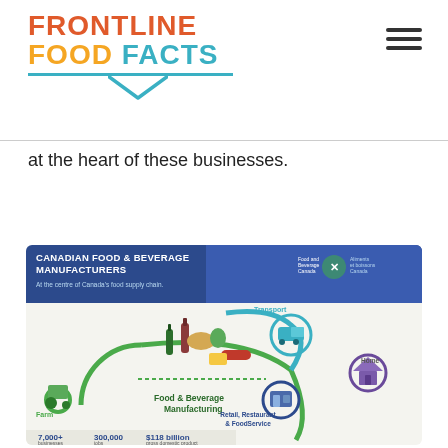[Figure (logo): Frontline Food Facts logo with teal and orange/red text and a teal checkmark/chevron underline]
at the heart of these businesses.
[Figure (infographic): Canadian Food & Beverage Manufacturers infographic showing supply chain from Farm to Food & Beverage Manufacturing to Transport to Retail, Restaurant & FoodService to Home. Statistics: 7,000+ businesses, 300,000 jobs, $118 billion gross domestic product. Food and Beverage Canada logo top right.]